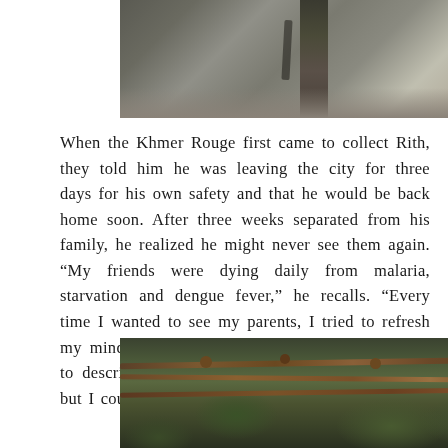[Figure (photo): Close-up photograph of a weathered concrete or stone post/pillar with peeling texture, set against a blurred outdoor background with gravel or earth]
When the Khmer Rouge first came to collect Rith, they told him he was leaving the city for three days for his own safety and that he would be back home soon. After three weeks separated from his family, he realized he might never see them again. “My friends were dying daily from malaria, starvation and dengue fever,” he recalls. “Every time I wanted to see my parents, I tried to refresh my mind to preserve the memory of them. I tried to describe to my friends the city [Phnom Penh], but I couldn’t remember the words.”
[Figure (photo): Photograph of rusty barbed wire in the foreground with green foliage and trees visible in the background, suggesting a scene related to detention or conflict]